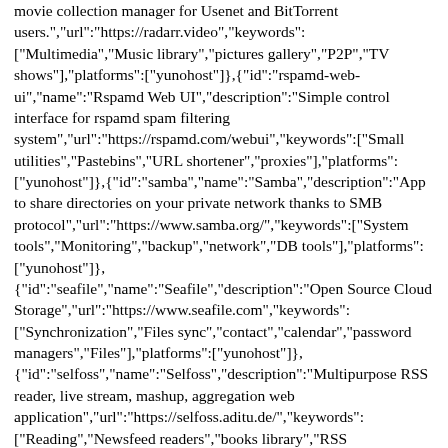movie collection manager for Usenet and BitTorrent users.","url":"https://radarr.video","keywords":["Multimedia","Music library","pictures gallery","P2P","TV shows"],"platforms":["yunohost"]},{"id":"rspamd-web-ui","name":"Rspamd Web UI","description":"Simple control interface for rspamd spam filtering system","url":"https://rspamd.com/webui","keywords":["Small utilities","Pastebins","URL shortener","proxies"],"platforms":["yunohost"]},{"id":"samba","name":"Samba","description":"App to share directories on your private network thanks to SMB protocol","url":"https://www.samba.org/","keywords":["System tools","Monitoring","backup","network","DB tools"],"platforms":["yunohost"]}, {"id":"seafile","name":"Seafile","description":"Open Source Cloud Storage","url":"https://www.seafile.com","keywords":["Synchronization","Files sync","contact","calendar","password managers","Files"],"platforms":["yunohost"]}, {"id":"selfoss","name":"Selfoss","description":"Multipurpose RSS reader, live stream, mashup, aggregation web application","url":"https://selfoss.aditu.de/","keywords":["Reading","Newsfeed readers","books library","RSS readers"],"platforms":["yunohost"]}, {"id":"signaturepdf","name":"Signaturepdf","description":"Free PDF signing software","url":"https://pdf.24eme.fr/signature","keywords":["“Small utilities","Pastebins","MRD...